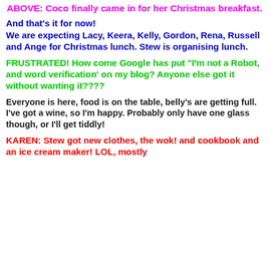ABOVE: Coco finally came in for her Christmas breakfast.
And that's it for now! We are expecting Lacy, Keera, Kelly, Gordon, Rena, Russell and Ange for Christmas lunch. Stew is organising lunch.
FRUSTRATED!  How come Google has put "I'm not a Robot, and word verification' on my blog?  Anyone else got it without wanting it????
Everyone is here, food is on the table, belly's are getting full.  I've got a wine, so I'm happy. Probably only have one glass though, or I'll get tiddly!
KAREN:  Stew got new clothes, the wok! and cookbook and an ice cream maker!  LOL, mostly